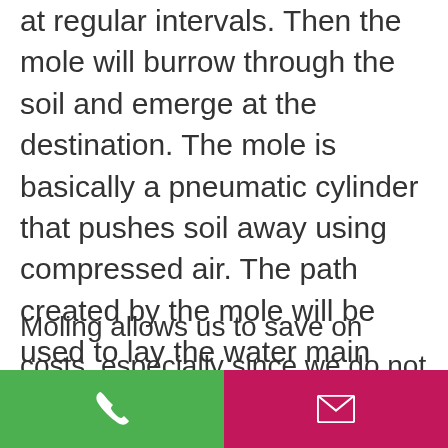at regular intervals. Then the mole will burrow through the soil and emerge at the destination. The mole is basically a pneumatic cylinder that pushes soil away using compressed air. The path created by the mole will be used to lay the water main pipeline.
Moling allows us to save on costs, especially since we do not have to cover any trenches at the end of the day. We transfer these savings to our customers. The process is very simple, and this is why we are able to complete it in a very short time.
[Figure (other): Footer bar with two colored buttons: green phone button on the left and pink/magenta email button on the right]